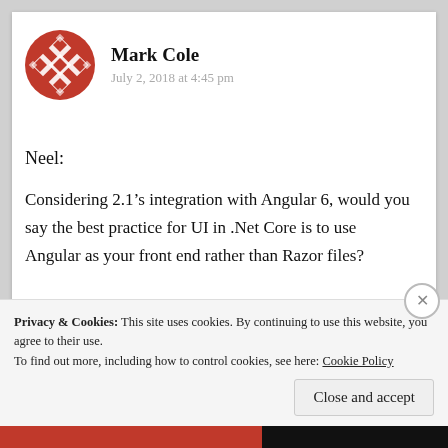[Figure (illustration): Red geometric/floral avatar icon for user Mark Cole]
Mark Cole
July 2, 2018 at 4:45 pm
Neel:
Considering 2.1’s integration with Angular 6, would you say the best practice for UI in .Net Core is to use Angular as your front end rather than Razor files?
Privacy & Cookies: This site uses cookies. By continuing to use this website, you agree to their use.
To find out more, including how to control cookies, see here: Cookie Policy
Close and accept